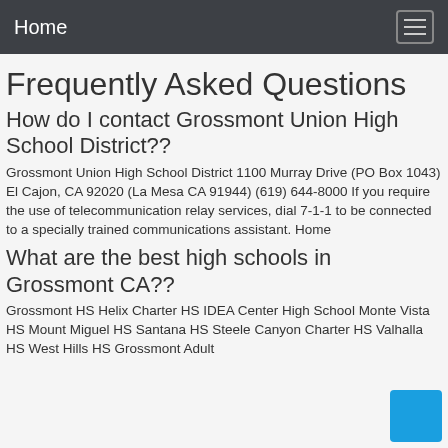Home
Frequently Asked Questions
How do I contact Grossmont Union High School District??
Grossmont Union High School District 1100 Murray Drive (PO Box 1043) El Cajon, CA 92020 (La Mesa CA 91944) (619) 644-8000 If you require the use of telecommunication relay services, dial 7-1-1 to be connected to a specially trained communications assistant. Home
What are the best high schools in Grossmont CA??
Grossmont HS Helix Charter HS IDEA Center High School Monte Vista HS Mount Miguel HS Santana HS Steele Canyon Charter HS Valhalla HS West Hills HS Grossmont Adult